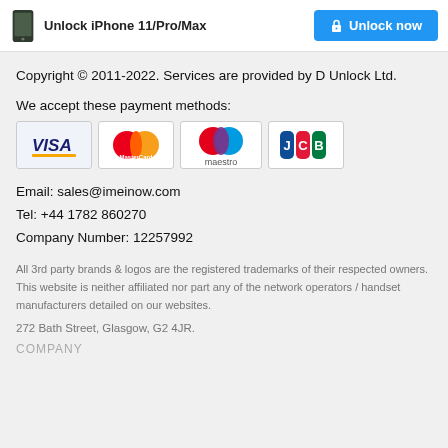Unlock iPhone 11/Pro/Max | Unlock now
Copyright © 2011-2022. Services are provided by D Unlock Ltd.
We accept these payment methods:
[Figure (logo): Payment method logos: VISA, MasterCard, Maestro, JCB]
Email: sales@imeinow.com
Tel: +44 1782 860270
Company Number: 12257992
All 3rd party brands & logos are the registered trademarks of their respected owners. This website is neither affiliated nor part any of the network operators / handset manufacturers detailed on our websites.
272 Bath Street, Glasgow, G2 4JR.
COMPANY